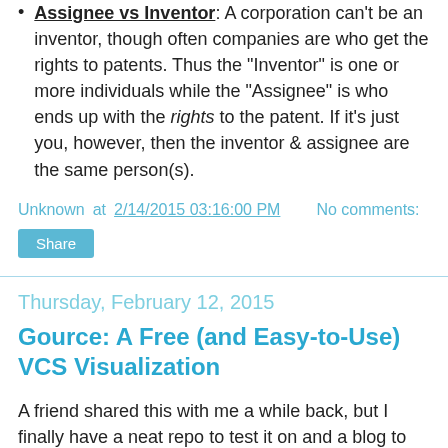Assignee vs Inventor: A corporation can't be an inventor, though often companies are who get the rights to patents. Thus the "Inventor" is one or more individuals while the "Assignee" is who ends up with the rights to the patent. If it's just you, however, then the inventor & assignee are the same person(s).
Unknown at 2/14/2015 03:16:00 PM   No comments:
Share
Thursday, February 12, 2015
Gource: A Free (and Easy-to-Use) VCS Visualization
A friend shared this with me a while back, but I finally have a neat repo to test it on and a blog to show it off! Gource is a free tool that visualizes files & commits in a specific version